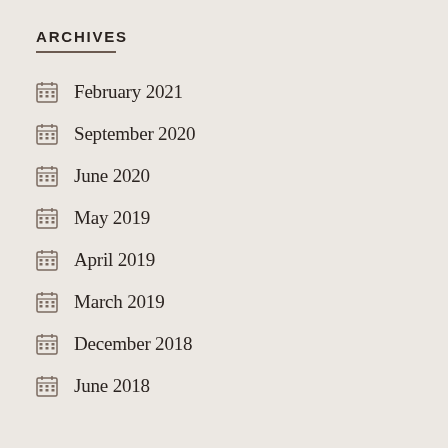ARCHIVES
February 2021
September 2020
June 2020
May 2019
April 2019
March 2019
December 2018
June 2018